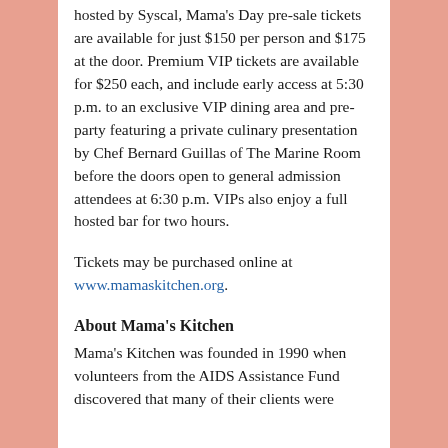hosted by Syscal, Mama's Day pre-sale tickets are available for just $150 per person and $175 at the door. Premium VIP tickets are available for $250 each, and include early access at 5:30 p.m. to an exclusive VIP dining area and pre-party featuring a private culinary presentation by Chef Bernard Guillas of The Marine Room before the doors open to general admission attendees at 6:30 p.m. VIPs also enjoy a full hosted bar for two hours.
Tickets may be purchased online at www.mamaskitchen.org.
About Mama's Kitchen
Mama's Kitchen was founded in 1990 when volunteers from the AIDS Assistance Fund discovered that many of their clients were